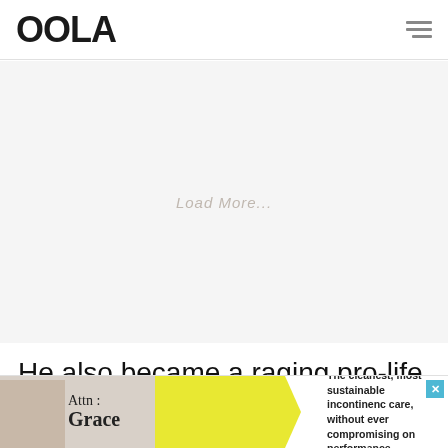OOLA
[Figure (other): Advertisement placeholder area with light gray background and faint centered text 'Load More...']
He also became a raging pro-life activist, stalking and attempting to
[Figure (other): Bottom advertisement banner for 'Attn: Grace' incontinence care product. Shows a person image on left, yellow arrow section, and text reading: The cleanest, most sustainable incontinence care, without ever compromising on performance.]